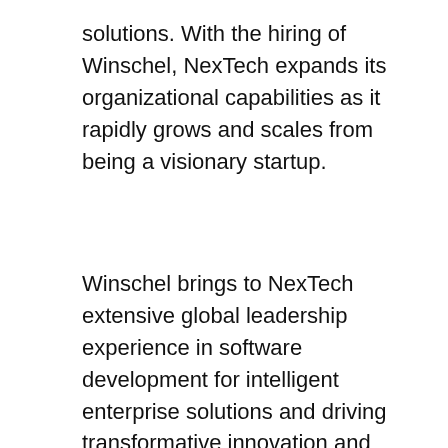solutions. With the hiring of Winschel, NexTech expands its organizational capabilities as it rapidly grows and scales from being a visionary startup.
Winschel brings to NexTech extensive global leadership experience in software development for intelligent enterprise solutions and driving transformative innovation and growth. Winschel previously spent 18 years leading global and regional efforts for product development, sales and marketing at SAP, the market leader in enterprise application software. During his time with SAP, Winschel was